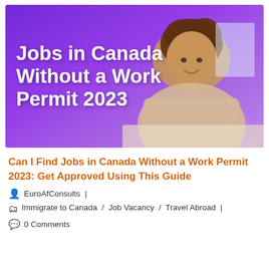[Figure (photo): Hero image with purple/violet gradient overlay showing a smiling woman at a desk; white bold text overlay reads 'Jobs in Canada Without a Work Permit 2023']
Can I Find Jobs in Canada Without a Work Permit 2023: Get Approved Using This Guide
EuroAfConsults |
Immigrate to Canada / Job Vacancy / Travel Abroad |
0 Comments